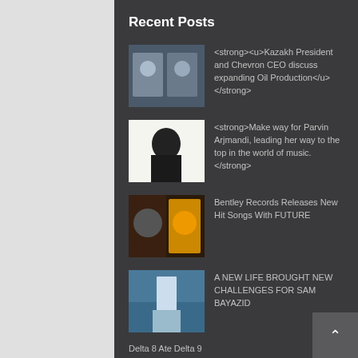Recent Posts
<strong><u>Kazakh President and Chevron CEO discuss expanding Oil Production</u></strong>
<strong>Make way for Parvin Arjmandi, leading her way to the top in the world of music.</strong>
Bentley Records Releases New Hit Songs With FUTURE
A NEW LIFE BROUGHT NEW CHALLENGES FOR SAM BAYAZID
Delta 8 Ate Delta 9
Categories